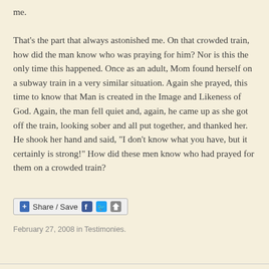me.

That's the part that always astonished me. On that crowded train, how did the man know who was praying for him? Nor is this the only time this happened. Once as an adult, Mom found herself on a subway train in a very similar situation. Again she prayed, this time to know that Man is created in the Image and Likeness of God. Again, the man fell quiet and, again, he came up as she got off the train, looking sober and all put together, and thanked her. He shook her hand and said, "I don't know what you have, but it certainly is strong!" How did these men know who had prayed for them on a crowded train?
[Figure (other): Share / Save social sharing bar with Facebook, Twitter, and share icons]
February 27, 2008 in Testimonies.